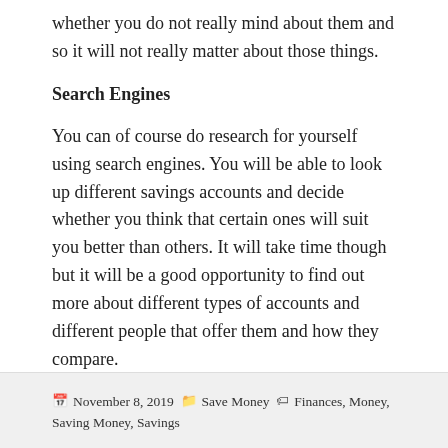whether you do not really mind about them and so it will not really matter about those things.
Search Engines
You can of course do research for yourself using search engines. You will be able to look up different savings accounts and decide whether you think that certain ones will suit you better than others. It will take time though but it will be a good opportunity to find out more about different types of accounts and different people that offer them and how they compare.
November 8, 2019   Save Money   Finances, Money, Saving Money, Savings